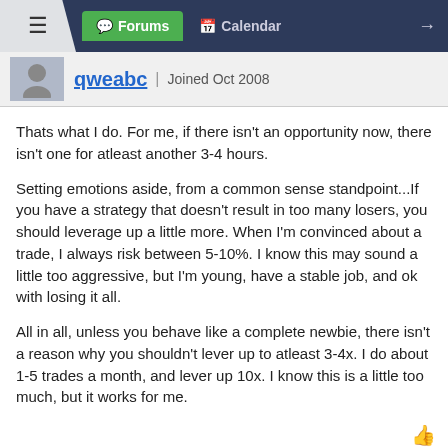Forums | Calendar
qweabc | Joined Oct 2008
Thats what I do. For me, if there isn't an opportunity now, there isn't one for atleast another 3-4 hours.
Setting emotions aside, from a common sense standpoint...If you have a strategy that doesn't result in too many losers, you should leverage up a little more. When I'm convinced about a trade, I always risk between 5-10%. I know this may sound a little too aggressive, but I'm young, have a stable job, and ok with losing it all.
All in all, unless you behave like a complete newbie, there isn't a reason why you shouldn't lever up to atleast 3-4x. I do about 1-5 trades a month, and lever up 10x. I know this is a little too much, but it works for me.
Last: Apr 17, 2009 1:03am  #9
[Figure (screenshot): Forex.com advertisement banner: LEVEL UP YOUR TRADING. Forex trading involves significant risk of loss and is not suitable for all investors. *All StoneX]